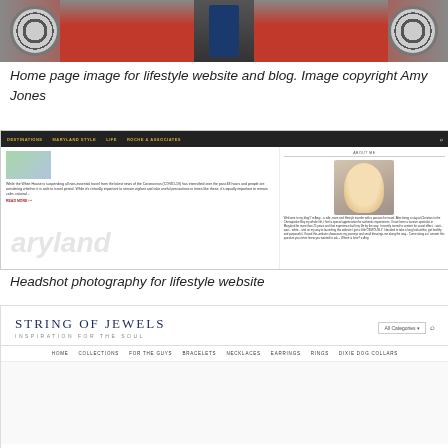[Figure (screenshot): Partial screenshot of a lifestyle website home page showing a red car and wheel rims]
Home page image for lifestyle website and blog. Image copyright Amy Jones
[Figure (screenshot): Screenshot of a lifestyle website and blog with navigation bar showing DESTINATIONS, MARYLAND STYLE, LIFE, ROCHE & ASSOCIATES, article text, a watermark, and an About Me sidebar with a headshot of a blonde woman]
Headshot photography for lifestyle website
[Figure (screenshot): Screenshot of String of Jewels website header with logo 'STRING OF JEWELS - INSPIRATION FOR THE SOUL', a category dropdown, search icon, and navigation: HOME, COLLECTIONS, FOR THE GUYS, BRACELETS, NECKLACES, EARRINGS, RINGS, DIXIE DOG COLLARS]